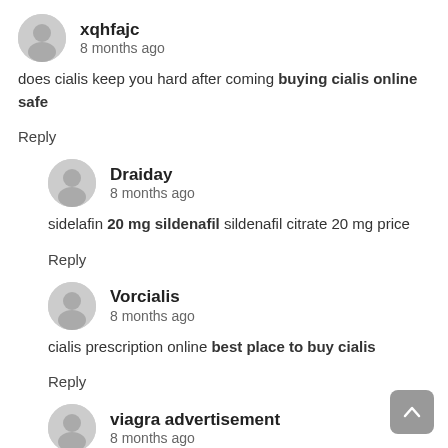xqhfajc
8 months ago
does cialis keep you hard after coming buying cialis online safe
Reply
Draiday
8 months ago
sidelafin 20 mg sildenafil sildenafil citrate 20 mg price
Reply
Vorcialis
8 months ago
cialis prescription online best place to buy cialis
Reply
viagra advertisement
8 months ago